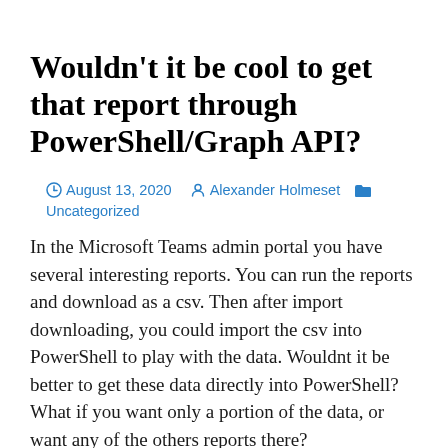Wouldn't it be cool to get that report through PowerShell/Graph API?
August 13, 2020   Alexander Holmeset   Uncategorized
In the Microsoft Teams admin portal you have several interesting reports. You can run the reports and download as a csv. Then after import downloading, you could import the csv into PowerShell to play with the data. Wouldnt it be better to get these data directly into PowerShell? What if you want only a portion of the data, or want any of the others reports there?